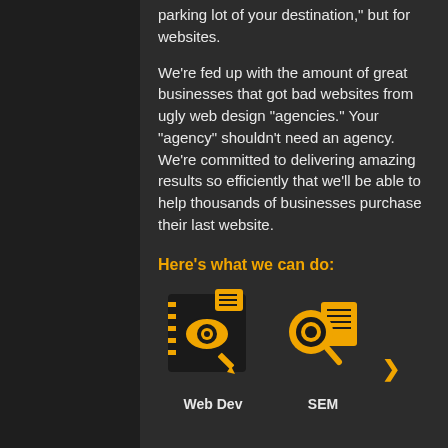parking lot of your destination," but for websites.
We're fed up with the amount of great businesses that got bad websites from ugly web design "agencies." Your "agency" shouldn't need an agency. We're committed to delivering amazing results so efficiently that we'll be able to help thousands of businesses purchase their last website.
Here's what we can do:
[Figure (illustration): Web Dev icon: a dark square with a stylized eye and pencil design in yellow/gold tones]
Web Dev
[Figure (illustration): SEM icon: a magnifying glass with a coin/dollar symbol in yellow/gold tones]
SEM